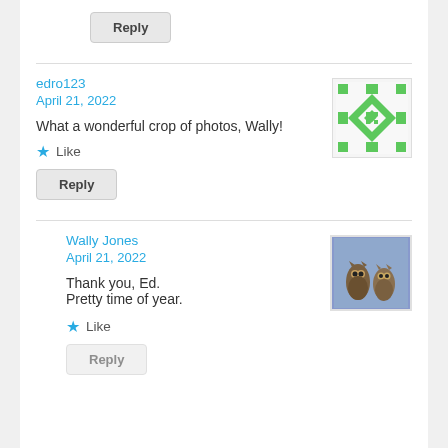Reply
edro123
April 21, 2022
What a wonderful crop of photos, Wally!
[Figure (illustration): Green geometric quilt-pattern avatar on white background]
Like
Reply
Wally Jones
April 21, 2022
Thank you, Ed.
Pretty time of year.
[Figure (photo): Two great horned owls perched together against a blue-grey background]
Like